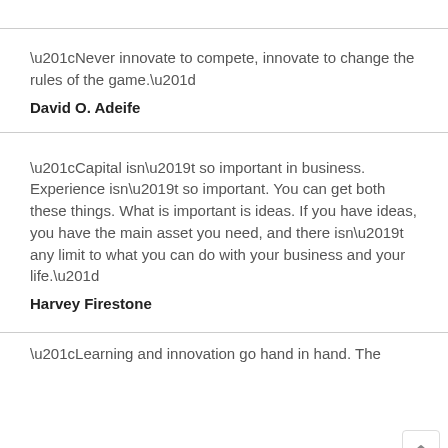“Never innovate to compete, innovate to change the rules of the game.”
David O. Adeife
“Capital isn’t so important in business. Experience isn’t so important. You can get both these things. What is important is ideas. If you have ideas, you have the main asset you need, and there isn’t any limit to what you can do with your business and your life.”
Harvey Firestone
“Learning and innovation go hand in hand. The